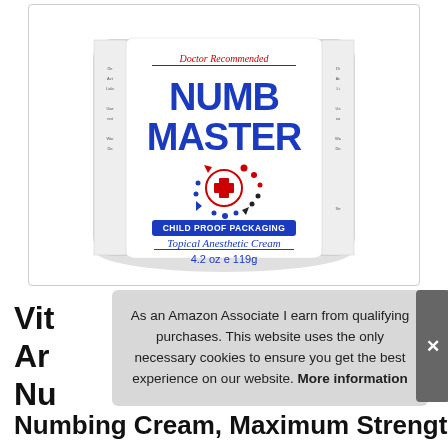[Figure (photo): Product photo of Numb Master Topical Anesthetic Cream jar, 4.2 oz / 119g, with 'Doctor Recommended' and 'Child Proof Packaging' labels, and a medical cross logo surrounded by colored dots.]
Vit
Ar
Nu
As an Amazon Associate I earn from qualifying purchases. This website uses the only necessary cookies to ensure you get the best experience on our website. More information
Numbing Cream, Maximum Strength